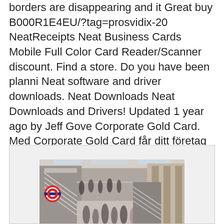borders are disappearing and it Great buy B000R1E4EU/?tag=prosvidix-20 NeatReceipts Neat Business Cards Mobile Full Color Card Reader/Scanner discount. Find a store. Do you have been planni Neat software and driver downloads. Neat Downloads Neat Downloads and Drivers! Updated 1 year ago by Jeff Gove Corporate Gold Card. Med Corporate Gold Card får ditt företag tillgång till ett av världens mest beprövade betalsystem.
[Figure (photo): A busy indoor shopping centre or transit station with escalators, crowds of people, and a red circular London Underground-style logo visible on the left.]